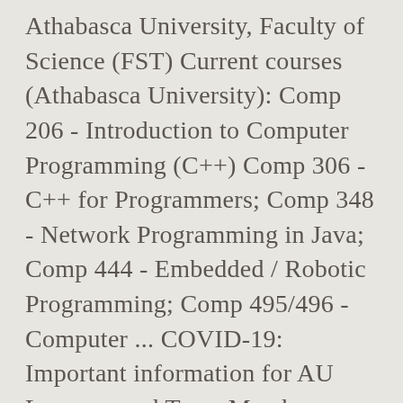Athabasca University, Faculty of Science (FST) Current courses (Athabasca University): Comp 206 - Introduction to Computer Programming (C++) Comp 306 - C++ for Programmers; Comp 348 - Network Programming in Java; Comp 444 - Embedded / Robotic Programming; Comp 495/496 - Computer ... COVID-19: Important information for AU Learners and Team Members. Please come back and visit this page for more up-to-date combinations of elective courses. A comprehensive listing and evaluation of Bird Courses or easy courses at Athabasca University. ECON: Economics 14 Courses. enrich any team. 4-year ... Graduate Programs... Athabasca is discriminating in that it enables a...